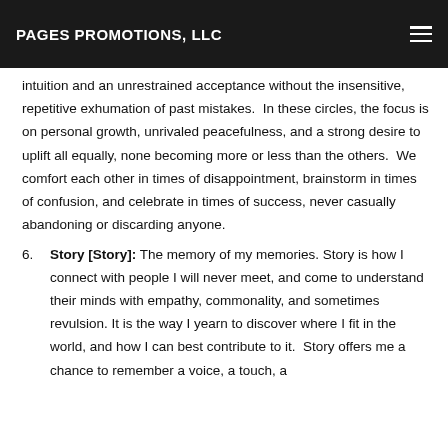PAGES PROMOTIONS, LLC
intuition and an unrestrained acceptance without the insensitive, repetitive exhumation of past mistakes. In these circles, the focus is on personal growth, unrivaled peacefulness, and a strong desire to uplift all equally, none becoming more or less than the others. We comfort each other in times of disappointment, brainstorm in times of confusion, and celebrate in times of success, never casually abandoning or discarding anyone.
6. Story [Story]: The memory of my memories. Story is how I connect with people I will never meet, and come to understand their minds with empathy, commonality, and sometimes revulsion. It is the way I yearn to discover where I fit in the world, and how I can best contribute to it. Story offers me a chance to remember a voice, a touch, a